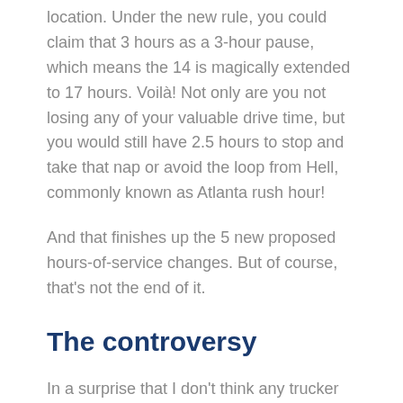location. Under the new rule, you could claim that 3 hours as a 3-hour pause, which means the 14 is magically extended to 17 hours. Voilà! Not only are you not losing any of your valuable drive time, but you would still have 2.5 hours to stop and take that nap or avoid the loop from Hell, commonly known as Atlanta rush hour!
And that finishes up the 5 new proposed hours-of-service changes. But of course, that's not the end of it.
The controversy
In a surprise that I don't think any trucker in-the-know would've anticipated, both the American Trucking Association (ATA) and the Owner Operator Independent Drivers Association (OOIDA) quickly